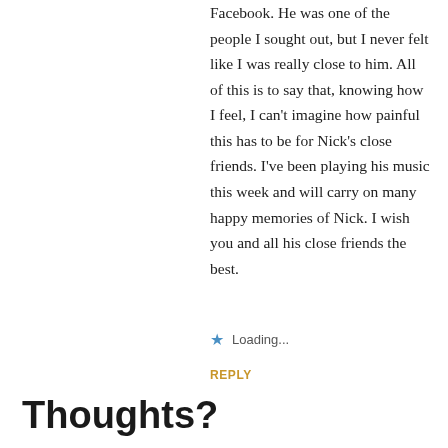Facebook. He was one of the people I sought out, but I never felt like I was really close to him. All of this is to say that, knowing how I feel, I can't imagine how painful this has to be for Nick's close friends. I've been playing his music this week and will carry on many happy memories of Nick. I wish you and all his close friends the best.
★ Loading...
REPLY
Thoughts?